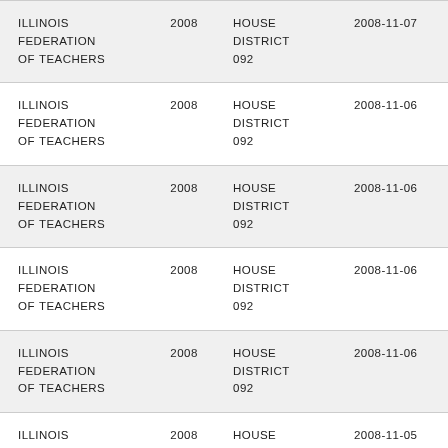| ILLINOIS FEDERATION OF TEACHERS | 2008 | HOUSE DISTRICT 092 | 2008-11-07 |
| ILLINOIS FEDERATION OF TEACHERS | 2008 | HOUSE DISTRICT 092 | 2008-11-06 |
| ILLINOIS FEDERATION OF TEACHERS | 2008 | HOUSE DISTRICT 092 | 2008-11-06 |
| ILLINOIS FEDERATION OF TEACHERS | 2008 | HOUSE DISTRICT 092 | 2008-11-06 |
| ILLINOIS FEDERATION OF TEACHERS | 2008 | HOUSE DISTRICT 092 | 2008-11-06 |
| ILLINOIS | 2008 | HOUSE | 2008-11-05 |